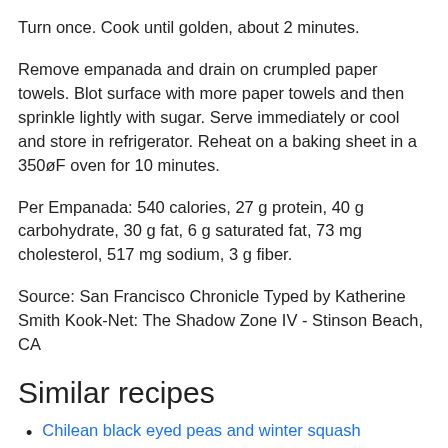Turn once. Cook until golden, about 2 minutes.
Remove empanada and drain on crumpled paper towels. Blot surface with more paper towels and then sprinkle lightly with sugar. Serve immediately or cool and store in refrigerator. Reheat on a baking sheet in a 350øF oven for 10 minutes.
Per Empanada: 540 calories, 27 g protein, 40 g carbohydrate, 30 g fat, 6 g saturated fat, 73 mg cholesterol, 517 mg sodium, 3 g fiber.
Source: San Francisco Chronicle Typed by Katherine Smith Kook-Net: The Shadow Zone IV - Stinson Beach, CA
Similar recipes
Chilean black eyed peas and winter squash